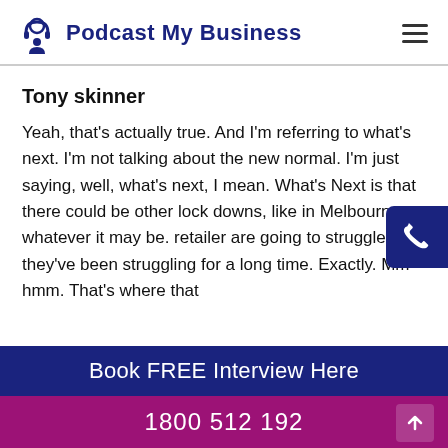Podcast My Business
Tony skinner
Yeah, that's actually true. And I'm referring to what's next. I'm not talking about the new normal. I'm just saying, well, what's next, I mean. What's Next is that there could be other lock downs, like in Melbourne or whatever it may be. retailer are going to struggle, but they've been struggling for a long time. Exactly. Mm hmm. That's where that
Book FREE Interview Here
1800 512 192